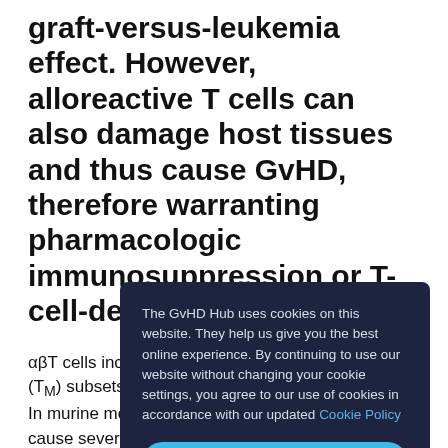graft-versus-leukemia effect. However, alloreactive T cells can also damage host tissues and thus cause GvHD, therefore warranting pharmacologic immunosuppression or T-cell-depleted grafts.
αβT cells inclu... (TM) subsets, ... In murine mo... cause severe ... GvHD and ma...
Marie Bleakle... Journal of Clinical Oncology that analyzed the effects
[Figure (screenshot): Cookie consent popup overlay with dark navy background. Text reads: 'The GvHD Hub uses cookies on this website. They help us give you the best online experience. By continuing to use our website without changing your cookie settings, you agree to our use of cookies in accordance with our updated Cookie Policy'. A blue 'YES, I ACCEPT COOKIES' button is at the bottom.]